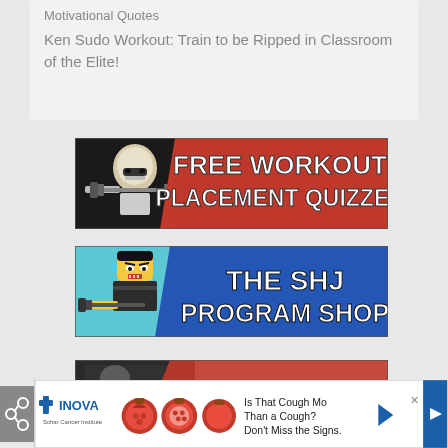Motivational Quotes
Ken Sudo Workout: Train to be Ripped in Classroom of the Elite!
[Figure (illustration): Banner ad: Lego stormtrooper lifting weights on left, red background with white bold text FREE WORKOUT PLACEMENT QUIZZES on right]
[Figure (illustration): Banner ad: Lego ninja character lifting barbell on left, blue background with white bold text THE SHJ PROGRAM SHOP on right]
[Figure (illustration): Partially visible banner at bottom]
[Figure (illustration): INOVA Schar Cancer Institute advertisement banner with pomegranate images and text: Is That Cough More Than a Cough? Don't Miss the Signs.]